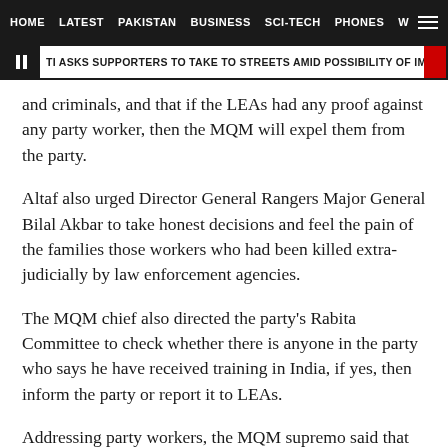HOME   LATEST   PAKISTAN   BUSINESS   SCI-TECH   PHONES   W
TI ASKS SUPPORTERS TO TAKE TO STREETS AMID POSSIBILITY OF IMRAN'S ARREST
and criminals, and that if the LEAs had any proof against any party worker, then the MQM will expel them from the party.
Altaf also urged Director General Rangers Major General Bilal Akbar to take honest decisions and feel the pain of the families those workers who had been killed extra-judicially by law enforcement agencies.
The MQM chief also directed the party's Rabita Committee to check whether there is anyone in the party who says he have received training in India, if yes, then inform the party or report it to LEAs.
Addressing party workers, the MQM supremo said that